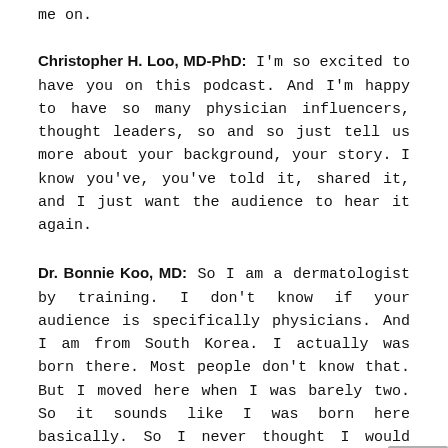me on.
Christopher H. Loo, MD-PhD: I'm so excited to have you on this podcast. And I'm happy to have so many physician influencers, thought leaders, so and so just tell us more about your background, your story. I know you've, you've told it, shared it, and I just want the audience to hear it again.
Dr. Bonnie Koo, MD: So I am a dermatologist by training. I don't know if your audience is specifically physicians. And I am from South Korea. I actually was born there. Most people don't know that. But I moved here when I was barely two. So it sounds like I was born here basically. So I never thought I would become an entrepreneur. Like I thought I would be a physician and do that for the rest of my